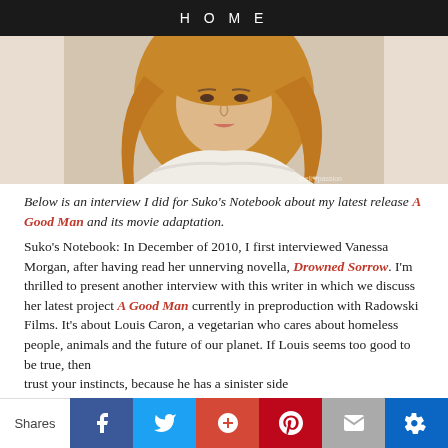HOME
[Figure (photo): Portrait photo of a woman with long wavy blonde hair wearing a white lace top, photographed against a neutral beige background.]
Below is an interview I did for Suko's Notebook about my latest release A Good Man and its movie adaptation.
Suko's Notebook: In December of 2010, I first interviewed Vanessa Morgan, after having read her unnerving novella, Drowned Sorrow. I'm thrilled to present another interview with this writer in which we discuss her latest project A Good Man currently in preproduction with Radowski Films. It's about Louis Caron, a vegetarian who cares about homeless people, animals and the future of our planet. If Louis seems too good to be true, then trust your instincts, because he has a sinister side